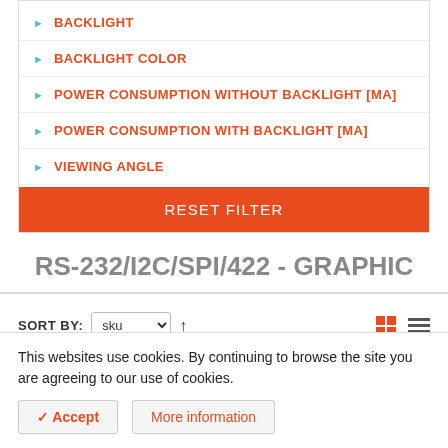BACKLIGHT
BACKLIGHT COLOR
POWER CONSUMPTION WITHOUT BACKLIGHT [MA]
POWER CONSUMPTION WITH BACKLIGHT [MA]
VIEWING ANGLE
RESET FILTER
RS-232/I2C/SPI/422 - GRAPHIC
SORT BY: sku ↑
This websites use cookies. By continuing to browse the site you are agreeing to our use of cookies.
✓ Accept   More information